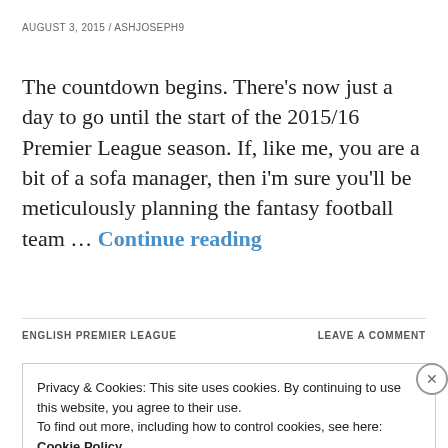AUGUST 3, 2015 / ASHJOSEPH9
The countdown begins. There’s now just a day to go until the start of the 2015/16 Premier League season. If, like me, you are a bit of a sofa manager, then i’m sure you’ll be meticulously planning the fantasy football team … Continue reading
ENGLISH PREMIER LEAGUE
LEAVE A COMMENT
Privacy & Cookies: This site uses cookies. By continuing to use this website, you agree to their use.
To find out more, including how to control cookies, see here:
Cookie Policy
Close and accept